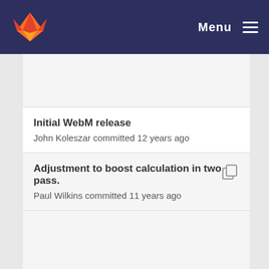Menu
Initial WebM release
John Koleszar committed 12 years ago
Adjustment to boost calculation in two pass.
Paul Wilkins committed 11 years ago